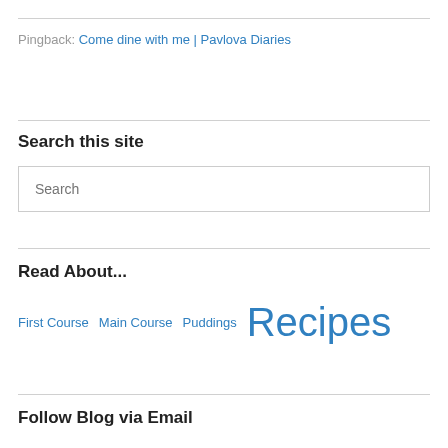Pingback: Come dine with me | Pavlova Diaries
Search this site
Search
Read About...
First Course  Main Course  Puddings  Recipes
Follow Blog via Email